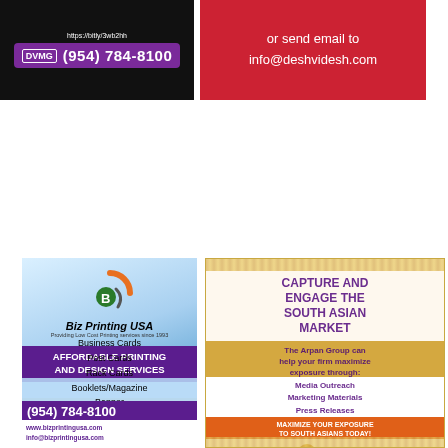[Figure (advertisement): DVMC ad with phone number (954) 784-8100 and URL, dark background with purple phone bar]
[Figure (advertisement): Red background ad: 'or send email to info@deshvidesh.com']
[Figure (advertisement): Biz Printing USA ad - Affordable Printing and Design Services, listing Business Cards, Post Cards, Rack Cards, Booklets/Magazine, Banner, Brochures, Pocket Folders. Phone: (954) 784-8100, www.bizprintingusa.com, info@bizprintingusa.com]
[Figure (advertisement): The Arpan Group LLC ad - Capture and Engage the South Asian Market. Media Outreach, Marketing Materials, Press Releases, Website Copy, Informational Articles. www.thearpangroup.com, e: info@thearpangroup.com, t: 703.651.6670]